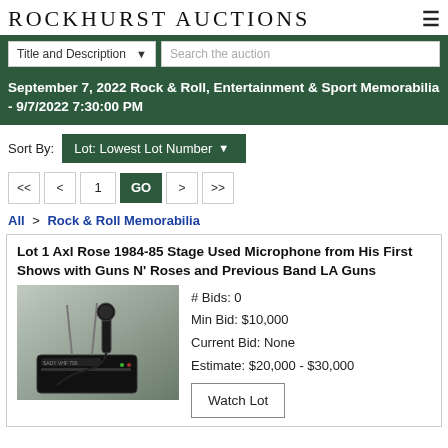ROCKHURST AUCTIONS
Title and Description | Search the auction
September 7, 2022 Rock & Roll, Entertainment & Sport Memorabilia - 9/7/2022 7:30:00 PM
Sort By: Lot: Lowest Lot Number
<< < 1 GO > >>
All > Rock & Roll Memorabilia
Lot 1 Axl Rose 1984-85 Stage Used Microphone from His First Shows with Guns N' Roses and Previous Band LA Guns
[Figure (photo): Photo of a stage microphone and wireless transmitter/receiver unit (SADY VHF 700) on a dark background]
# Bids: 0
Min Bid: $10,000
Current Bid: None
Estimate: $20,000 - $30,000
Watch Lot